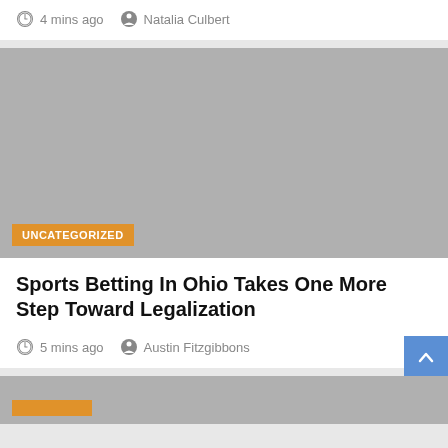4 mins ago   Natalia Culbert
[Figure (photo): Gray placeholder image with UNCATEGORIZED badge]
Sports Betting In Ohio Takes One More Step Toward Legalization
5 mins ago   Austin Fitzgibbons
[Figure (photo): Gray placeholder image at bottom of page]